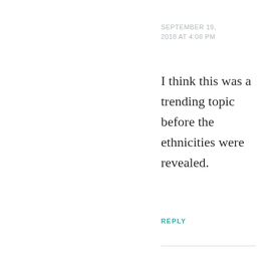SEPTEMBER 19, 2018 AT 4:08 PM
I think this was a trending topic before the ethnicities were revealed.
REPLY